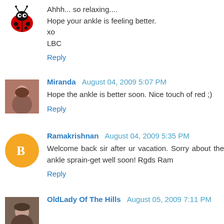Ahhh... so relaxing....
Hope your ankle is feeling better.
xo
LBC
Reply
Miranda  August 04, 2009 5:07 PM
Hope the ankle is better soon. Nice touch of red ;)
Reply
Ramakrishnan  August 04, 2009 5:35 PM
Welcome back sir after ur vacation. Sorry about the ankle sprain-get well soon! Rgds Ram
Reply
OldLady Of The Hills  August 05, 2009 7:11 PM